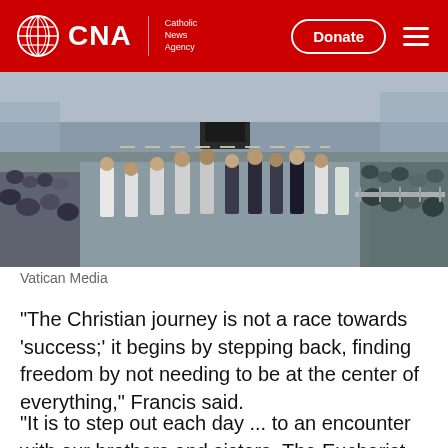CNA | Catholic News Agency
[Figure (photo): Large crowd of people lining a street, viewed from behind, with security personnel and barricades visible. A vehicle is seen in the background on the street.]
Vatican Media
“The Christian journey is not a race towards ‘success;’ it begins by stepping back, finding freedom by not needing to be at the center of everything,” Francis said.
“It is to step out each day ... to an encounter with our brothers and sisters. The Eucharist impels us to this encounter, to the realization